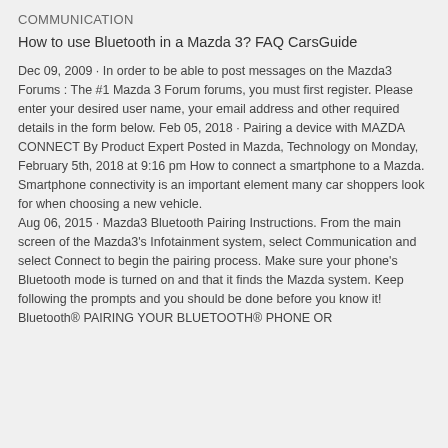COMMUNICATION
How to use Bluetooth in a Mazda 3? FAQ CarsGuide
Dec 09, 2009 · In order to be able to post messages on the Mazda3 Forums : The #1 Mazda 3 Forum forums, you must first register. Please enter your desired user name, your email address and other required details in the form below. Feb 05, 2018 · Pairing a device with MAZDA CONNECT By Product Expert Posted in Mazda, Technology on Monday, February 5th, 2018 at 9:16 pm How to connect a smartphone to a Mazda. Smartphone connectivity is an important element many car shoppers look for when choosing a new vehicle.
Aug 06, 2015 · Mazda3 Bluetooth Pairing Instructions. From the main screen of the Mazda3's Infotainment system, select Communication and select Connect to begin the pairing process. Make sure your phone's Bluetooth mode is turned on and that it finds the Mazda system. Keep following the prompts and you should be done before you know it!
Bluetooth® PAIRING YOUR BLUETOOTH® PHONE OR